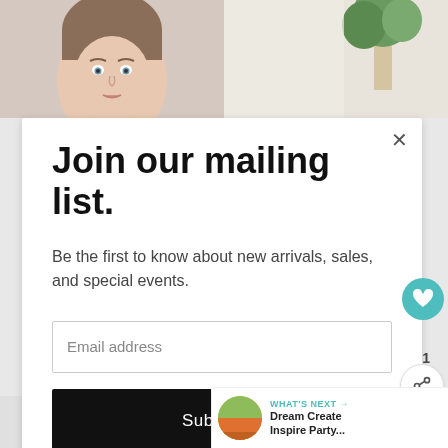[Figure (photo): Two background photos at top: left shows a woman's face/head, right shows a room interior with plant]
Join our mailing list.
Be the first to know about new arrivals, sales, and special events.
Email address
Subscribe
1
[Figure (screenshot): What's Next bar with thumbnail and text: Dream Create Inspire Party...]